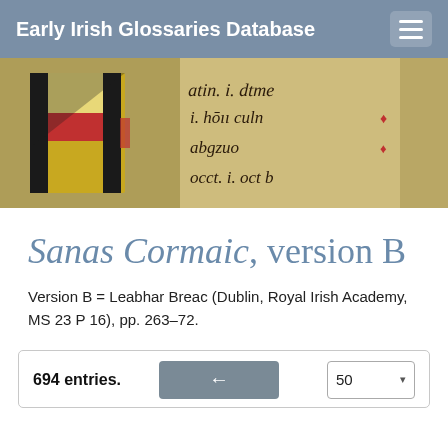Early Irish Glossaries Database
[Figure (photo): Close-up photograph of an illuminated medieval Irish manuscript page showing decorative initials with red and black interlace patterns and medieval Irish script text.]
Sanas Cormaic, version B
Version B = Leabhar Breac (Dublin, Royal Irish Academy, MS 23 P 16), pp. 263–72.
694 entries.  ←  50